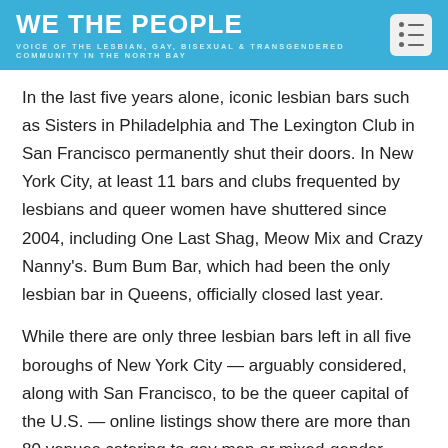WE THE PEOPLE
VOICE OF THE LESBIAN, GAY, BISEXUAL & TRANSGENDERED COMMUNITY IN THE NORTH BAY
In the last five years alone, iconic lesbian bars such as Sisters in Philadelphia and The Lexington Club in San Francisco permanently shut their doors. In New York City, at least 11 bars and clubs frequented by lesbians and queer women have shuttered since 2004, including One Last Shag, Meow Mix and Crazy Nanny's. Bum Bum Bar, which had been the only lesbian bar in Queens, officially closed last year.
While there are only three lesbian bars left in all five boroughs of New York City — arguably considered, along with San Francisco, to be the queer capital of the U.S. — online listings show there are more than 80 venues catering to gay men or mixed-gender LGBTQ crowds in the city.